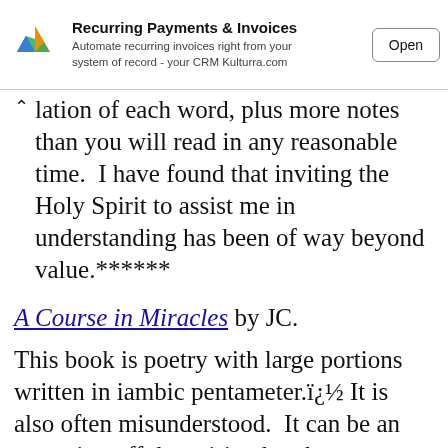[Figure (other): Advertisement banner for Recurring Payments & Invoices by Kulturra.com with logo, subtitle text, and Open button]
lation of each word, plus more notes than you will read in any reasonable time.  I have found that inviting the Holy Spirit to assist me in understanding has been of way beyond value.******
A Course in Miracles by JC.
This book is poetry with large portions written in iambic pentameter.ï¿½ It is also often misunderstood.  It can be an attraction off the spiritual path to intellectuals that use it to judge themselves and others.  For that matter the bible can have the same effect when used by the ego.  [Ego = Edging god